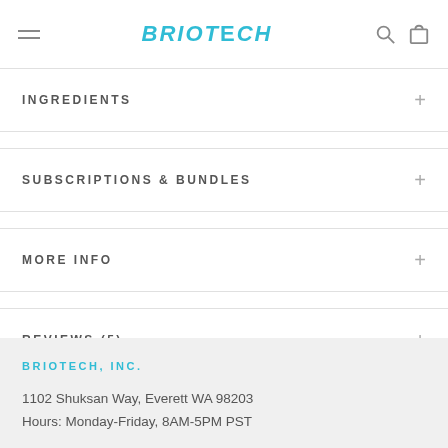BRIOTECH
INGREDIENTS
SUBSCRIPTIONS & BUNDLES
MORE INFO
REVIEWS (5)
BRIOTECH, INC.
1102 Shuksan Way, Everett WA 98203
Hours: Monday-Friday, 8AM-5PM PST